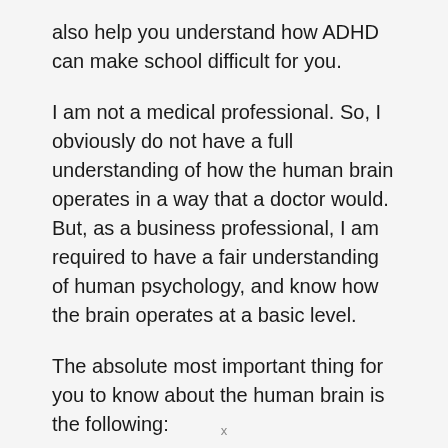also help you understand how ADHD can make school difficult for you.
I am not a medical professional. So, I obviously do not have a full understanding of how the human brain operates in a way that a doctor would. But, as a business professional, I am required to have a fair understanding of human psychology, and know how the brain operates at a basic level.
The absolute most important thing for you to know about the human brain is the following:
Your brain has a tendency to constantly revert
x